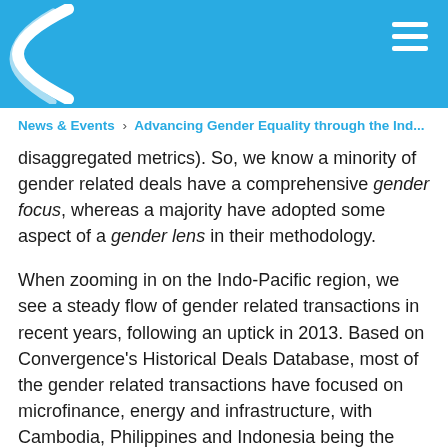Header bar with logo and navigation menu
News & Events › Advancing Gender Equality through the Ind...
disaggregated metrics). So, we know a minority of gender related deals have a comprehensive gender focus, whereas a majority have adopted some aspect of a gender lens in their methodology.
When zooming in on the Indo-Pacific region, we see a steady flow of gender related transactions in recent years, following an uptick in 2013. Based on Convergence's Historical Deals Database, most of the gender related transactions have focused on microfinance, energy and infrastructure, with Cambodia, Philippines and Indonesia being the most frequently targeted countries. The public sector has emerged as a key financier of blended finance transactions in this region, by participating in more than half of the transactions. A sizeable proportion of